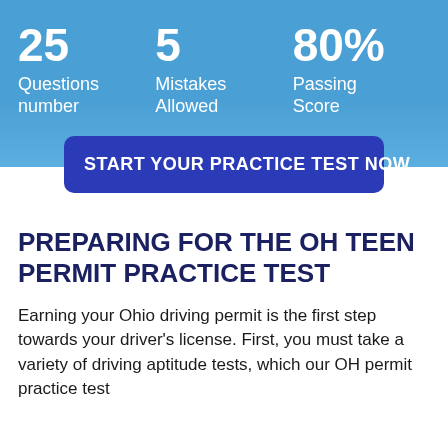25
Questions number
5
Mistakes Allowed
80%
Passing Score
START YOUR PRACTICE TEST NOW
PREPARING FOR THE OH TEEN PERMIT PRACTICE TEST
Earning your Ohio driving permit is the first step towards your driver's license. First, you must take a variety of driving aptitude tests, which our OH permit practice test